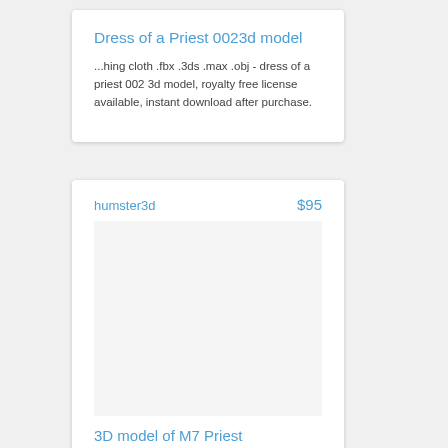Dress of a Priest 0023d model
...hing cloth .fbx .3ds .max .obj - dress of a priest 002 3d model, royalty free license available, instant download after purchase.
humster3d   $95
[Figure (photo): Empty image area placeholder for 3D model product image]
3D model of M7 Priest
...3d buy a detailed 3d model of m7 priest in